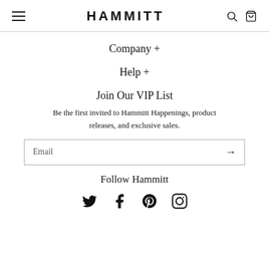HAMMITT
Company +
Help +
Join Our VIP List
Be the first invited to Hammitt Happenings, product releases, and exclusive sales.
Email
Follow Hammitt
[Figure (other): Social media icons: Twitter, Facebook, Pinterest, Instagram]